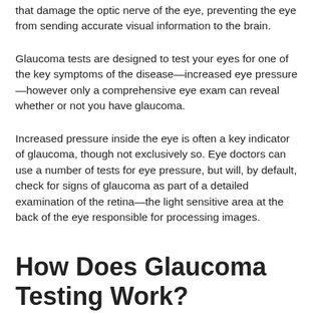that damage the optic nerve of the eye, preventing the eye from sending accurate visual information to the brain.
Glaucoma tests are designed to test your eyes for one of the key symptoms of the disease—increased eye pressure—however only a comprehensive eye exam can reveal whether or not you have glaucoma.
Increased pressure inside the eye is often a key indicator of glaucoma, though not exclusively so. Eye doctors can use a number of tests for eye pressure, but will, by default, check for signs of glaucoma as part of a detailed examination of the retina—the light sensitive area at the back of the eye responsible for processing images.
How Does Glaucoma Testing Work?
A glaucoma test is usually part of a routine eye exam.
Both types of glaucoma tests measure internal pressure of the